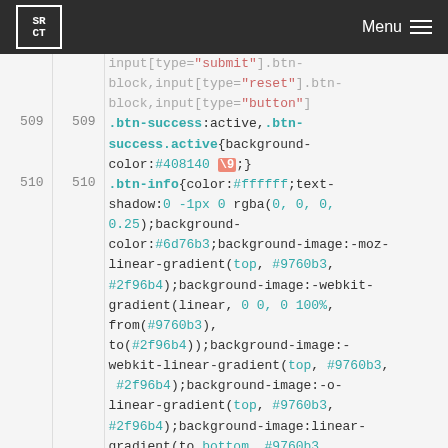SRCT | Menu
input[type="submit"].btn-block,input[type="reset"].btn-block,input[type="button"
509 509 .btn-success:active,.btn-success.active{background-color:#408140 \9;}
510 510 .btn-info{color:#ffffff;text-shadow:0 -1px 0 rgba(0, 0, 0, 0.25);background-color:#6d76b3;background-image:-moz-linear-gradient(top, #9760b3, #2f96b4);background-image:-webkit-gradient(linear, 0 0, 0 100%, from(#9760b3), to(#2f96b4));background-image:-webkit-linear-gradient(top, #9760b3, #2f96b4);background-image:-o-linear-gradient(top, #9760b3, #2f96b4);background-image:linear-gradient(to bottom, #9760b3, #2f96b4);background-repeat:repeat-